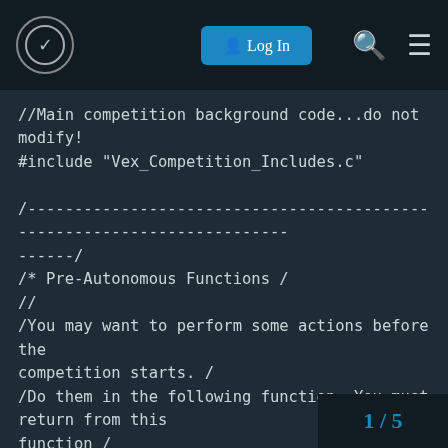Log In
//Main competition background code...do not modify!
#include "Vex_Competition_Includes.c"

/------------------------------------------------------------------------/
/* Pre-Autonomous Functions /
//
/You may want to perform some actions before the competition starts. /
/Do them in the following function. You must return from this function /
/or the autonomous and usercontrol tasks will not be started. This /
/function is only called once after the cortex has been powered on and /
/not every time that the robot is disabled. /
/------------------------------------------------/
void pre_auton(){
1 / 5